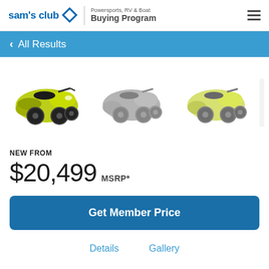[Figure (logo): Sam's Club logo with diamond icon and Powersports, RV & Boat Buying Program text]
All Results
[Figure (photo): Three three-wheeled Can-Am Spyder motorcycles shown side by side; left one is yellow-green, middle is dark/gray, right is yellow-green. A fourth is partially visible.]
NEW FROM
$20,499 MSRP*
Get Member Price
Details    Gallery